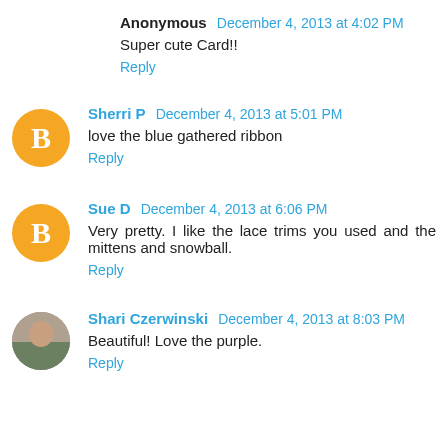Anonymous  December 4, 2013 at 4:02 PM
Super cute Card!!
Reply
Sherri P  December 4, 2013 at 5:01 PM
love the blue gathered ribbon
Reply
Sue D  December 4, 2013 at 6:06 PM
Very pretty. I like the lace trims you used and the mittens and snowball.
Reply
Shari Czerwinski  December 4, 2013 at 8:03 PM
Beautiful! Love the purple.
Reply